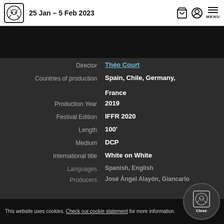25 Jan – 5 Feb 2023
[Figure (other): Black banner / hero image area]
Director: Théo Court
Countries of production: Spain, Chile, Germany, France
Production Year: 2019
Festival Edition: IFFR 2020
Length: 100'
Medium: DCP
International title: White on White
Languages: Spanish, English
Producers: José Ángel Alayón, Giancarlo
This website uses cookies. Check our cookie statement for more information.